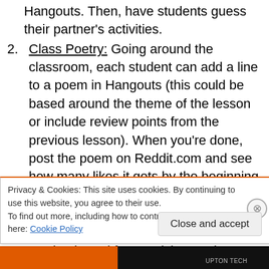Hangouts. Then, have students guess their partner's activities.
Class Poetry: Going around the classroom, each student can add a line to a poem in Hangouts (this could be based around the theme of the lesson or include review points from the previous lesson). When you're done, post the poem on Reddit.com and see how many likes it gets by the beginning of the next class. This is a great one for building camaraderie.
Create a daily challenge: This can be as simple and fun as giving students 2 minutes to post the cutest
Privacy & Cookies: This site uses cookies. By continuing to use this website, you agree to their use.
To find out more, including how to control cookies, see here: Cookie Policy
Close and accept